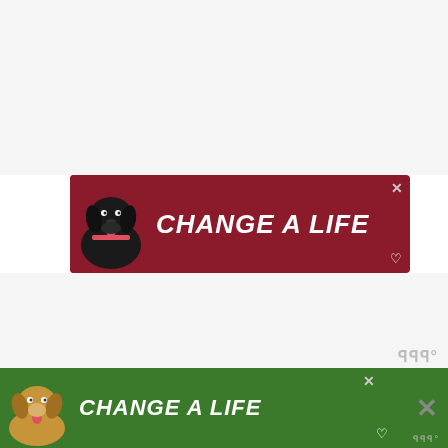[Figure (other): Advertisement banner with dark red background showing a black Labrador dog and bold white italic text 'CHANGE A LIFE' with a heart symbol and close X button]
“The main chemical [in kratom] is mitragynine,” wrote Reps. Mark Pocan (D-2...
[Figure (other): Advertisement banner with green background showing a tan/brown dog and bold white italic text 'CHANGE A LIFE' with a heart symbol and close X button]